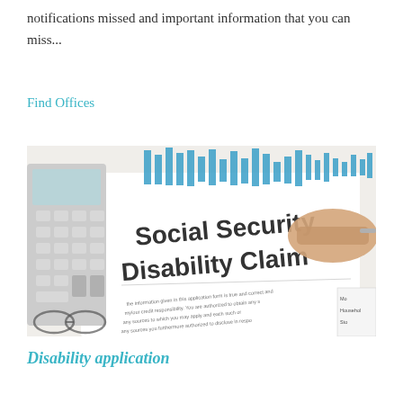notifications missed and important information that you can miss...
Find Offices
[Figure (photo): Photo of a Social Security Disability Claim form with a calculator in the upper left, blue bar-chart graphic at the top, a hand holding a pen signing the form, and glasses in the lower left corner.]
Disability application